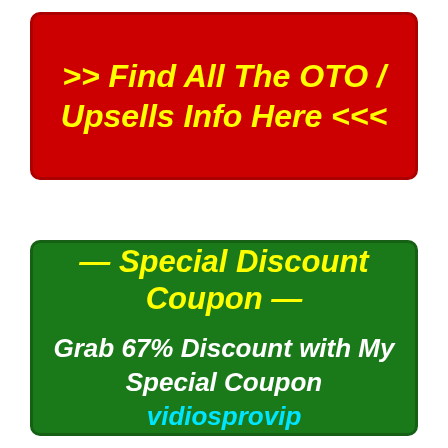[Figure (infographic): Red banner button with yellow bold text: >>> Find All The OTO / Upsells Info Here <<<]
[Figure (infographic): Green banner with yellow bold header '— Special Discount Coupon —' and white bold text 'Grab 67% Discount with My Special Coupon' followed by cyan text 'vidiosprovip']